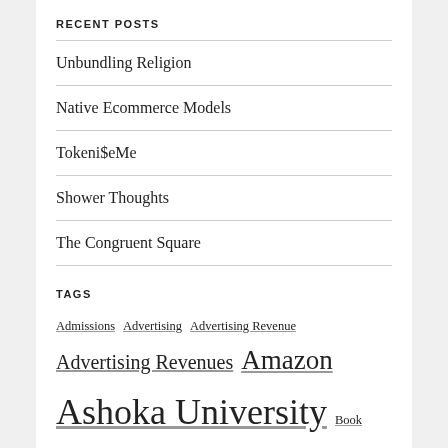RECENT POSTS
Unbundling Religion
Native Ecommerce Models
Tokeni$eMe
Shower Thoughts
The Congruent Square
TAGS
Admissions Advertising Advertising Revenue Advertising Revenues Amazon Ashoka University Book Discovery Bookstores Circulation Revenue Classifieds Clayton Christensen Content COVID-19 Curation DB Corp Education Unbundling Fitness Higher Education IDEO IITs India Innova Schools Jagran Prakashan Metered Model MOOCs Nalanda University News Online / Digital